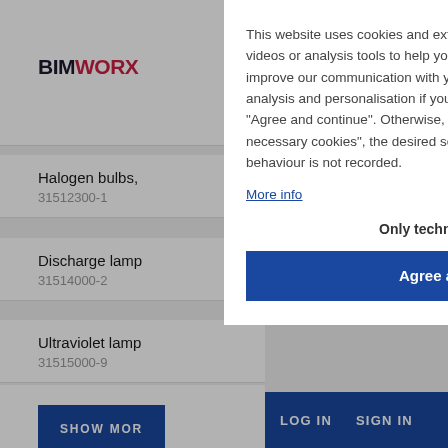BIMWORX
Halogen bulbs,
31512300-1
Discharge lamp
31514000-2
Ultraviolet lamp
31515000-9
This website uses cookies and external components such as fonts, maps, videos or analysis tools to help you get the most out of our website and to improve our communication with you. We only process data for marketing, analysis and personalisation if you give us your consent by clicking on "Agree and continue". Otherwise, by clicking on "Use only technically necessary cookies", the desired settings are set and your surfing behaviour is not recorded.
More info
Only technically necessary
Agree and continue
Imprint
LOG IN   SIGN IN